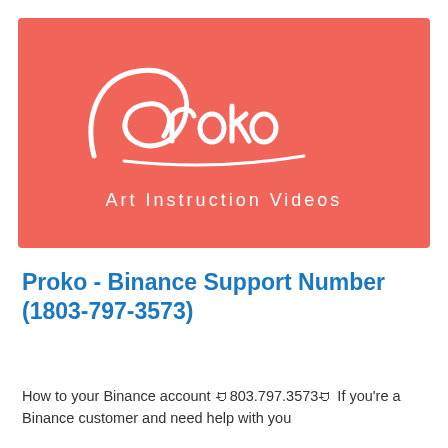[Figure (logo): Proko Art Instruction Videos logo — white script 'Proko' text and 'Art Instruction Videos' subtitle on a coral/salmon red background]
Proko - Binance Support Number (1803-797-3573)
How to your Binance account ꀀ803.797.3573ꀀ If you're a Binance customer and need help with you